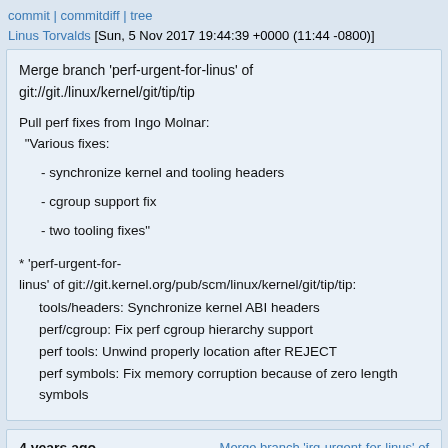commit | commitdiff | tree
Linus Torvalds [Sun, 5 Nov 2017 19:44:39 +0000 (11:44 -0800)]
Merge branch 'perf-urgent-for-linus' of git://git./linux/kernel/git/tip/tip

Pull perf fixes from Ingo Molnar:
 "Various fixes:

   - synchronize kernel and tooling headers

   - cgroup support fix

   - two tooling fixes"

* 'perf-urgent-for-linus' of git://git.kernel.org/pub/scm/linux/kernel/git/tip/tip:
  tools/headers: Synchronize kernel ABI headers
  perf/cgroup: Fix perf cgroup hierarchy support
  perf tools: Unwind properly location after REJECT
  perf symbols: Fix memory corruption because of zero length symbols
4 years ago   Merge branch 'irq-urgent-for-linus' of git://git.kernel.org/pub/scm/linux/kernel...